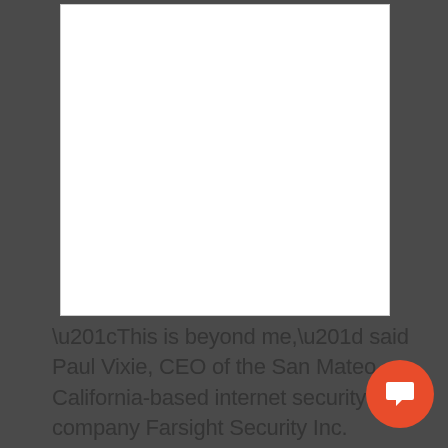[Figure (other): White rectangular box representing an image or media placeholder area]
“This is beyond me,” said Paul Vixie, CEO of the San Mateo, California-based internet security company Farsight Security Inc. “I have simply never seen a benefit accrue from an attack of this kind. I’m at loss unless it’s a demonstration of capabilities.”